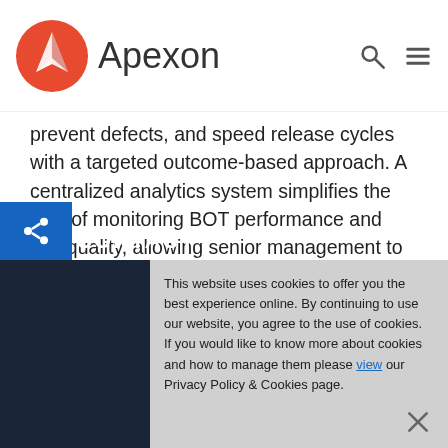Apexon
prevent defects, and speed release cycles with a targeted outcome-based approach. A centralized analytics system simplifies the task of monitoring BOT performance and test quality, allowing senior management to calculate savings and return on investment for their testing efforts.
CONTACT
This website uses cookies to offer you the best experience online. By continuing to use our website, you agree to the use of cookies. If you would like to know more about cookies and how to manage them please view our Privacy Policy & Cookies page.